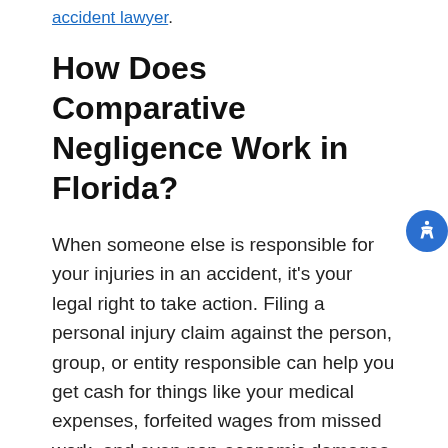accident lawyer.
How Does Comparative Negligence Work in Florida?
When someone else is responsible for your injuries in an accident, it's your legal right to take action. Filing a personal injury claim against the person, group, or entity responsible can help you get cash for things like your medical expenses, forfeited wages from missed work, and even non-economic damages, like emotional trauma.
One of the fundamental concepts in personal injury claims is negligence. In order to earn a settlement or win a jury award, you need to prove the responsible party acted negligently, leading to your losses.
One point of confusion, however, involves the concept